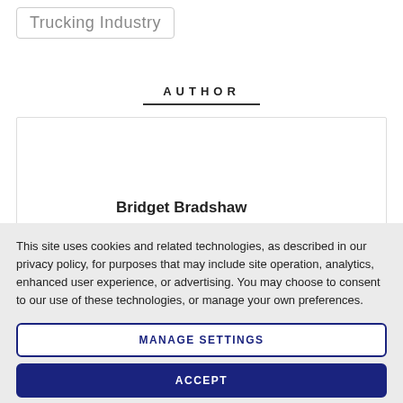Trucking Industry
AUTHOR
Bridget Bradshaw
This site uses cookies and related technologies, as described in our privacy policy, for purposes that may include site operation, analytics, enhanced user experience, or advertising. You may choose to consent to our use of these technologies, or manage your own preferences.
MANAGE SETTINGS
ACCEPT
DECLINE ALL